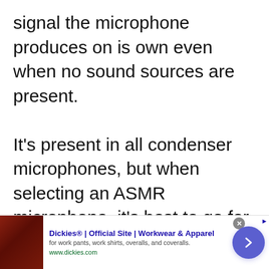signal the microphone produces on is own even when no sound sources are present.

It's present in all condenser microphones, but when selecting an ASMR microphone, it's best to go for the one with the least self-noise as possible. When getting an ASMR mic, you should look out for those with a self-noise of 15dBA and
[Figure (screenshot): Advertisement banner for Dickies Official Site - Workwear & Apparel, showing a leather furniture image on the left, ad text in the middle, and a purple arrow button on the right. A close (x) button is at the top right of the banner.]